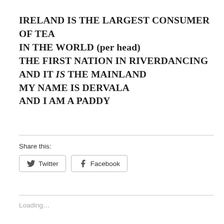IRELAND IS THE LARGEST CONSUMER OF TEA IN THE WORLD (per head) THE FIRST NATION IN RIVERDANCING AND IT IS THE MAINLAND

MY NAME IS DERVALA AND I AM A PADDY
Share this:
[Figure (other): Twitter and Facebook share buttons]
Loading...